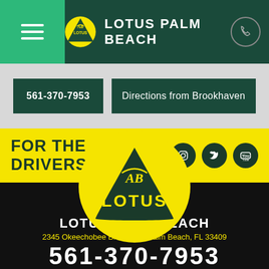[Figure (screenshot): Lotus Palm Beach website screenshot showing navigation bar with hamburger menu, Lotus logo, dealer name, phone icon, call and directions buttons, 'FOR THE DRIVERS' tagline with social icons, and large Lotus logo on black background with dealer address and phone number]
LOTUS PALM BEACH
561-370-7953
Directions from Brookhaven
FOR THE DRIVERS
LOTUS PALM BEACH
2345 Okeechobee Blvd, West Palm Beach, FL 33409
561-370-7953